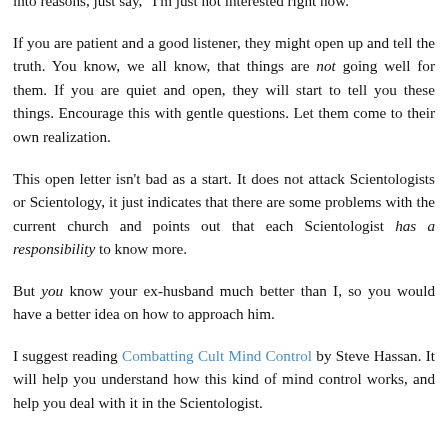machine, just say "I'm not interested in that," and continue to ask them about their life. If they ask why you're not interested, do not get into reasons, just say, "I'm just not interested right now."
If you are patient and a good listener, they might open up and tell the truth. You know, we all know, that things are not going well for them. If you are quiet and open, they will start to tell you these things. Encourage this with gentle questions. Let them come to their own realization.
This open letter isn't bad as a start. It does not attack Scientologists or Scientology, it just indicates that there are some problems with the current church and points out that each Scientologist has a responsibility to know more.
But you know your ex-husband much better than I, so you would have a better idea on how to approach him.
I suggest reading Combatting Cult Mind Control by Steve Hassan. It will help you understand how this kind of mind control works, and help you deal with it in the Scientologist.